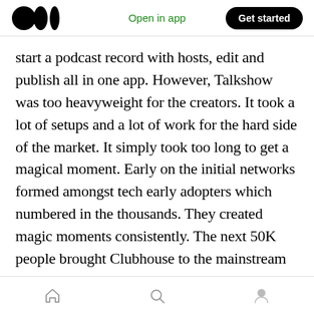Medium logo | Open in app | Get started
start a podcast record with hosts, edit and publish all in one app. However, Talkshow was too heavyweight for the creators. It took a lot of setups and a lot of work for the hard side of the market. It simply took too long to get a magical moment. Early on the initial networks formed amongst tech early adopters which numbered in the thousands. They created magic moments consistently. The next 50K people brought Clubhouse to the mainstream culture. The Black creative community centered on entertainment and media hotspots like Atlanta Chicago NY and
Home | Search | Profile